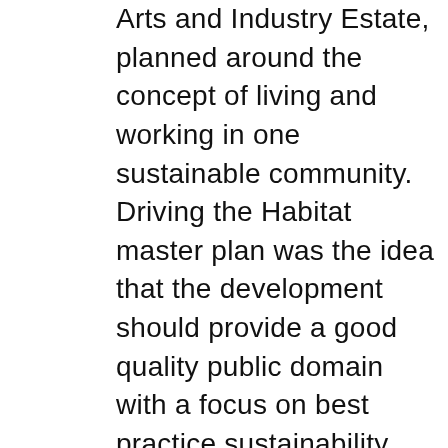Arts and Industry Estate, planned around the concept of living and working in one sustainable community. Driving the Habitat master plan was the idea that the development should provide a good quality public domain with a focus on best practice sustainability and a high level of permeability to its surrounding context. After almost thirty years of planning, a vibrant community now exists. A commercial hub forms the heart of the precinct,  centred around a community square set within a subtropical landscape. Live/work buildings are sustainably designed with basic but good quality low cost housing and articulated work spaces, encouraging residents to tap into the collective creativity of the precinct. The Habitat demonstrates the  successful implementation of mixed-use zoning and a feasible model for a